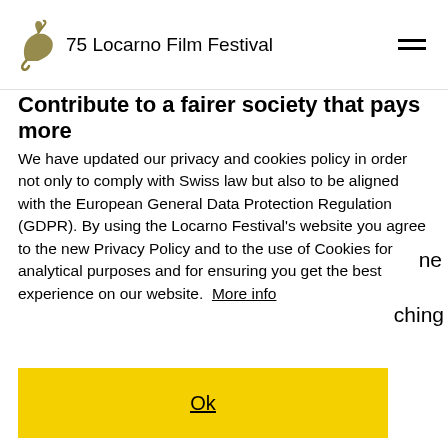75 Locarno Film Festival
Contribute to a fairer society that pays more
We have updated our privacy and cookies policy in order not only to comply with Swiss law but also to be aligned with the European General Data Protection Regulation (GDPR). By using the Locarno Festival's website you agree to the new Privacy Policy and to the use of Cookies for analytical purposes and for ensuring you get the best experience on our website.  More info
Ok